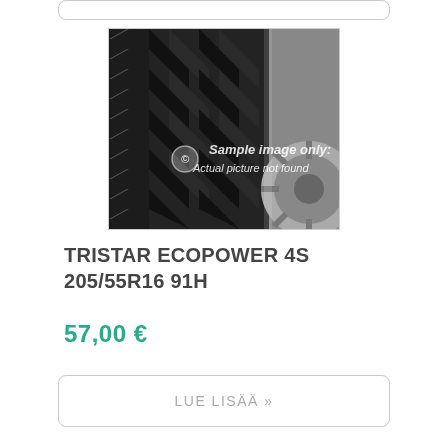[Figure (photo): Tire product photo with watermark text 'Sample image only: Actual picture not found']
TRISTAR ECOPOWER 4S 205/55R16 91H
57,00 €
LUE LISÄÄ »